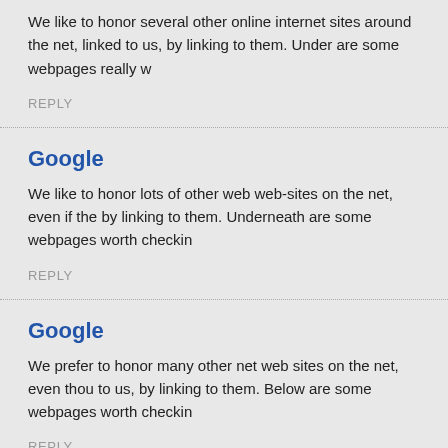We like to honor several other online internet sites around the net, linked to us, by linking to them. Under are some webpages really w
REPLY
Google
We like to honor lots of other web web-sites on the net, even if the by linking to them. Underneath are some webpages worth checkin
REPLY
Google
We prefer to honor many other net web sites on the net, even thou to us, by linking to them. Below are some webpages worth checkin
REPLY